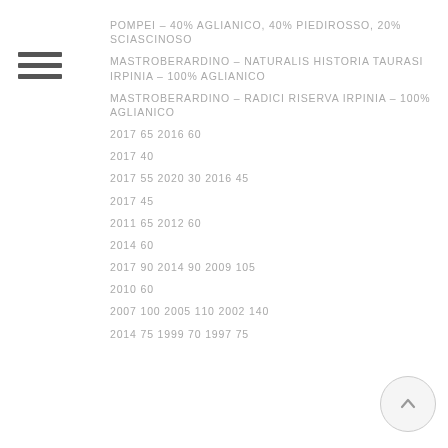POMPEI – 40% AGLIANICO, 40% PIEDIROSSO, 20% SCIASCINOSO
MASTROBERARDINO – NATURALIS HISTORIA TAURASI IRPINIA – 100% AGLIANICO
MASTROBERARDINO – RADICI RISERVA IRPINIA – 100% AGLIANICO
2017 65 2016 60
2017 40
2017 55 2020 30 2016 45
2017 45
2011 65 2012 60
2014 60
2017 90 2014 90 2009 105
2010 60
2007 100 2005 110 2002 140
2014 75 1999 70 1997 75